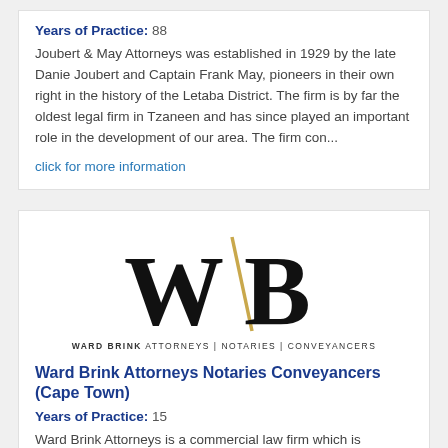Years of Practice: 88
Joubert & May Attorneys was established in 1929 by the late Danie Joubert and Captain Frank May, pioneers in their own right in the history of the Letaba District. The firm is by far the oldest legal firm in Tzaneen and has since played an important role in the development of our area. The firm con...
click for more information
[Figure (logo): Ward Brink Attorneys | Notaries | Conveyancers logo — large stylized W/B letters in black with a gold diagonal slash, and text below reading WARD BRINK ATTORNEYS | NOTARIES | CONVEYANCERS]
Ward Brink Attorneys Notaries Conveyancers (Cape Town)
Years of Practice: 15
Ward Brink Attorneys is a commercial law firm which is